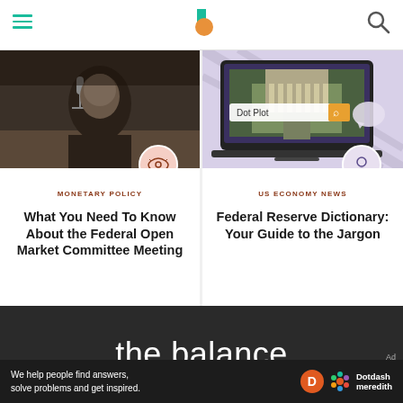the balance
[Figure (photo): Man speaking at microphone, headshot photo used for Monetary Policy article card]
MONETARY POLICY
What You Need To Know About the Federal Open Market Committee Meeting
[Figure (screenshot): Laptop showing Federal Reserve building with 'Dot Plot' search bar, used for US Economy News article card]
US ECONOMY NEWS
Federal Reserve Dictionary: Your Guide to the Jargon
the balance
We help people find answers, solve problems and get inspired. Dotdash meredith